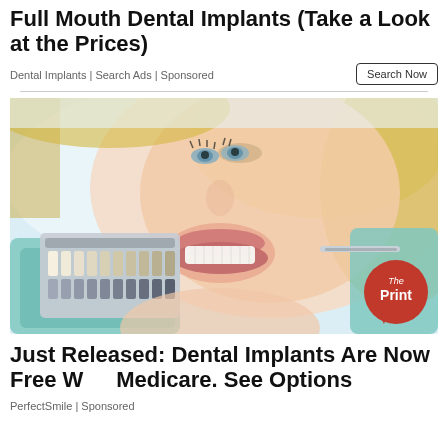Full Mouth Dental Implants (Take a Look at the Prices)
Dental Implants | Search Ads | Sponsored
[Figure (photo): A smiling blonde woman with blue gloved dental professional hands holding a tooth shade guide up to her teeth, comparing dental implant shades.]
Just Released: Dental Implants Are Now Free With Medicare. See Options
PerfectSmile | Sponsored